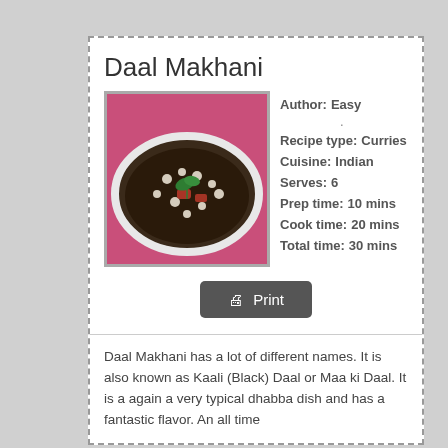Daal Makhani
[Figure (photo): A bowl of Daal Makhani, a dark lentil curry garnished with cream dots, a sprig of cilantro, and pieces of tomato, served in a white oval dish on a pink surface.]
Author: Easy .
Recipe type: Curries
Cuisine: Indian
Serves: 6
Prep time: 10 mins
Cook time: 20 mins
Total time: 30 mins
Print
Daal Makhani has a lot of different names. It is also known as Kaali (Black) Daal or Maa ki Daal. It is a again a very typical dhabba dish and has a fantastic flavor. An all time